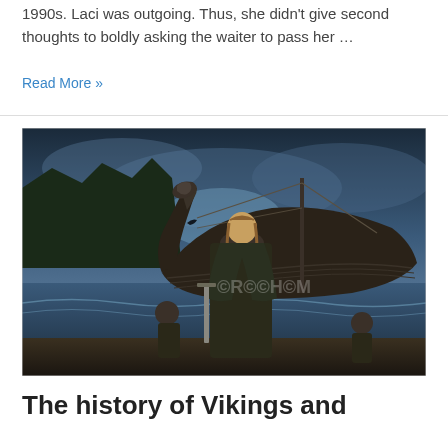1990s. Laci was outgoing. Thus, she didn't give second thoughts to boldly asking the waiter to pass her …
Read More »
[Figure (illustration): Digital illustration of Vikings wading ashore with a large Viking longship in the background. A main Viking warrior stands in the foreground holding a sword, with two other figures behind him. Rough waves, dark stormy sky, and forested cliffs visible. A watermark is present on the image.]
The history of Vikings and